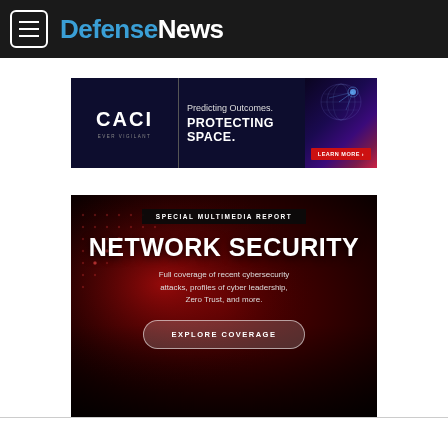DefenseNews
[Figure (screenshot): CACI advertisement: 'Predicting Outcomes. PROTECTING SPACE.' with globe imagery and Learn More button]
[Figure (infographic): Network Security special multimedia report card on dark red background. Text: 'SPECIAL MULTIMEDIA REPORT', 'NETWORK SECURITY', 'Full coverage of recent cybersecurity attacks, profiles of cyber leadership, Zero Trust, and more.' with 'EXPLORE COVERAGE' button]